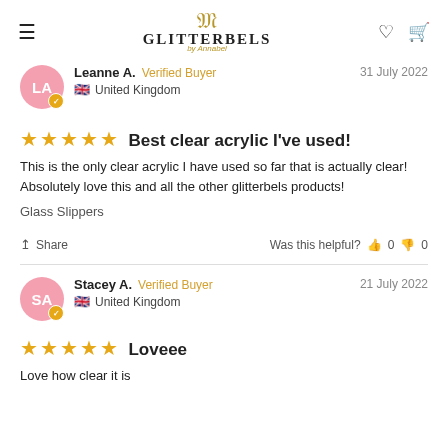GLITTERBELS
Leanne A. Verified Buyer  31 July 2022  United Kingdom
Best clear acrylic I've used!
This is the only clear acrylic I have used so far that is actually clear! Absolutely love this and all the other glitterbels products!
Glass Slippers
Share  Was this helpful?  0  0
Stacey A. Verified Buyer  21 July 2022  United Kingdom
Loveee
Love how clear it is